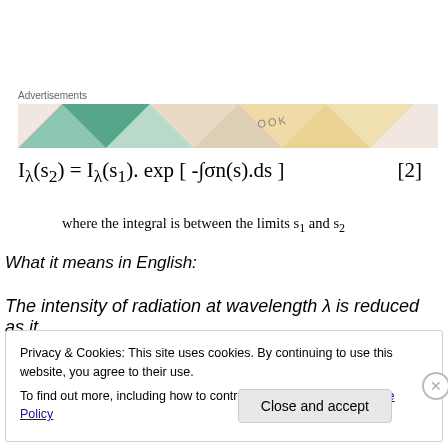[Figure (other): Advertisements banner with colorful geometric pattern (triangles in green, orange, teal on light background)]
where the integral is between the limits s₁ and s₂
What it means in English:
The intensity of radiation at wavelength λ is reduced as it
Privacy & Cookies: This site uses cookies. By continuing to use this website, you agree to their use.
To find out more, including how to control cookies, see here: Cookie Policy